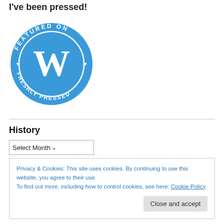I've been pressed!
[Figure (logo): WordPress 'Featured on Freshly Pressed' circular badge in blue with white text and WordPress W logo]
History
[Figure (screenshot): Select Month dropdown control]
Privacy & Cookies: This site uses cookies. By continuing to use this website, you agree to their use.
To find out more, including how to control cookies, see here: Cookie Policy
Close and accept